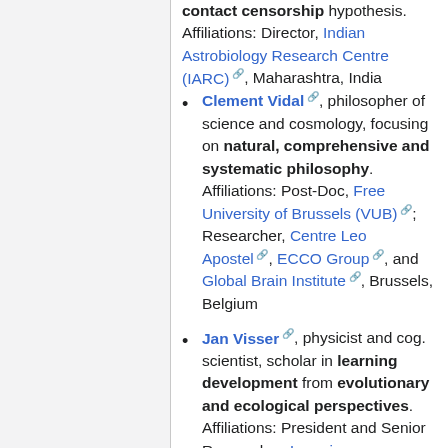contact censorship hypothesis. Affiliations: Director, Indian Astrobiology Research Centre (IARC), Maharashtra, India
Clement Vidal, philosopher of science and cosmology, focusing on natural, comprehensive and systematic philosophy. Affiliations: Post-Doc, Free University of Brussels (VUB); Researcher, Centre Leo Apostel, ECCO Group, and Global Brain Institute, Brussels, Belgium
Jan Visser, physicist and cog. scientist, scholar in learning development from evolutionary and ecological perspectives. Affiliations: President and Senior Researcher, Learning Development Institute (LDI), France